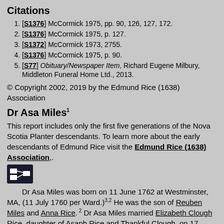Citations
[S1376] McCormick 1975, pp. 90, 126, 127, 172.
[S1376] McCormick 1975, p. 127.
[S1372] McCormick 1973, 2755.
[S1376] McCormick 1975, p. 90.
[S77] Obituary/Newspaper Item, Richard Eugene Milbury, Middleton Funeral Home Ltd., 2013.
© Copyright 2002, 2019 by the Edmund Rice (1638) Association
Dr Asa Miles
This report includes only the first five generations of the Nova Scotia Planter descendants. To learn more about the early descendants of Edmund Rice visit the Edmund Rice (1638) Association,.
[Figure (other): Small dark icon with network/diagram symbol]
Dr Asa Miles was born on 11 June 1762 at Westminster, MA, (11 July 1760 per Ward.)3,2 He was the son of Reuben Miles and Anna Rice.2 Dr Asa Miles married Elizabeth Clough Rice, daughter of Asaph Rice and Thankful Clough, on 17 October 1795 at Westminster, MA.3,4 Dr Asa Miles died on 27 March 1805 at